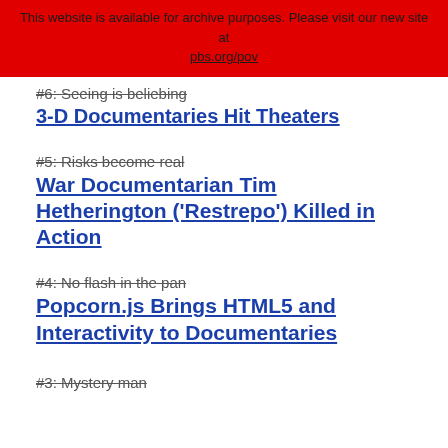This website is available for archive purposes. Please visit our new site at pbs.org/pov
#6: Seeing is beliebing
3-D Documentaries Hit Theaters
#5: Risks become real
War Documentarian Tim Hetherington ('Restrepo') Killed in Action
#4: No flash in the pan
Popcorn.js Brings HTML5 and Interactivity to Documentaries
#3: Mystery man